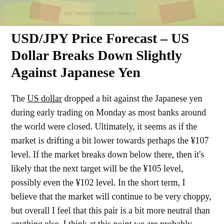[Figure (photo): Decorative header image showing paper currency bills (US dollars and other currencies)]
USD/JPY Price Forecast – US Dollar Breaks Down Slightly Against Japanese Yen
The US dollar dropped a bit against the Japanese yen during early trading on Monday as most banks around the world were closed. Ultimately, it seems as if the market is drifting a bit lower towards perhaps the ¥107 level. If the market breaks down below there, then it's likely that the next target will be the ¥105 level, possibly even the ¥102 level. In the short term, I believe that the market will continue to be very choppy, but overall I feel that this pair is a bit more neutral than anything else. I think at this point we are probably looking at a scenario where you can probably use this chart as an indicator of